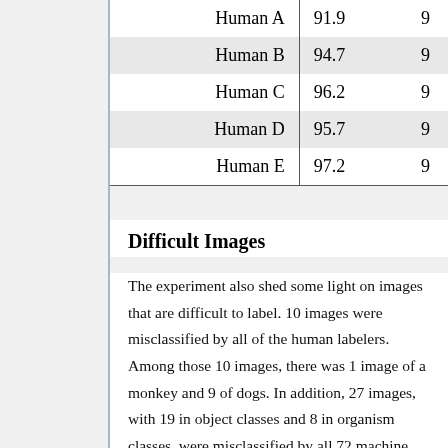|  | col1 | col2 |
| --- | --- | --- |
| Human A | 91.9 | 9 |
| Human B | 94.7 | 9 |
| Human C | 96.2 | 9 |
| Human D | 95.7 | 9 |
| Human E | 97.2 | 9 |
Difficult Images
The experiment also shed some light on images that are difficult to label. 10 images were misclassified by all of the human labelers. Among those 10 images, there was 1 image of a monkey and 9 of dogs. In addition, 27 images, with 19 in object classes and 8 in organism classes, were misclassified by all 72 machine learning models in this experiment. Only 2 images were labeled wrong by all human labelers and models. Both images contained dogs.